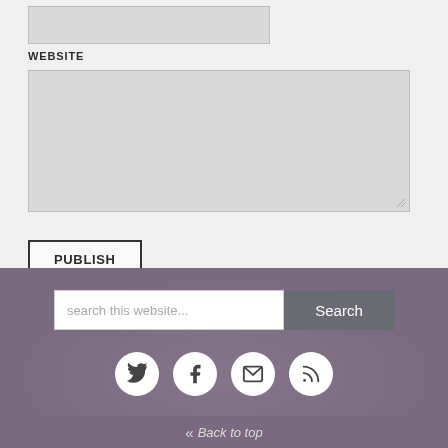[Figure (screenshot): Website URL input field (text input box, light gray background)]
WEBSITE
[Figure (screenshot): Large textarea comment input box, light gray, with resize handle at bottom right]
[Figure (screenshot): PUBLISH button with bold uppercase text and dark border]
[Figure (screenshot): Search bar with placeholder 'search this website...' and Search button, on purple background]
[Figure (screenshot): Social media icons row: Twitter, Facebook, Email, RSS — white circles on purple background]
Back to top